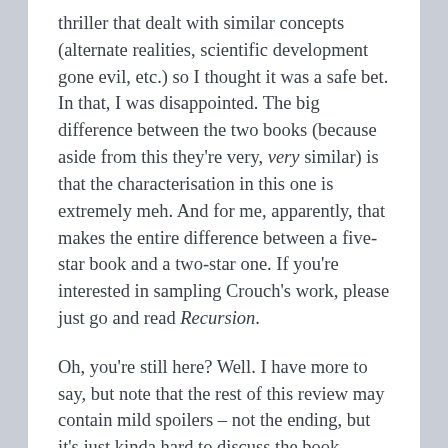thriller that dealt with similar concepts (alternate realities, scientific development gone evil, etc.) so I thought it was a safe bet. In that, I was disappointed. The big difference between the two books (because aside from this they're very, very similar) is that the characterisation in this one is extremely meh. And for me, apparently, that makes the entire difference between a five-star book and a two-star one. If you're interested in sampling Crouch's work, please just go and read Recursion.
Oh, you're still here? Well. I have more to say, but note that the rest of this review may contain mild spoilers – not the ending, but it's just kinda hard to discuss the book without revealing anything that happens at any point in it. Anyway. This novel is told from the perspective of one Jason Dessen, a Chicago-based academic (or university teacher, at